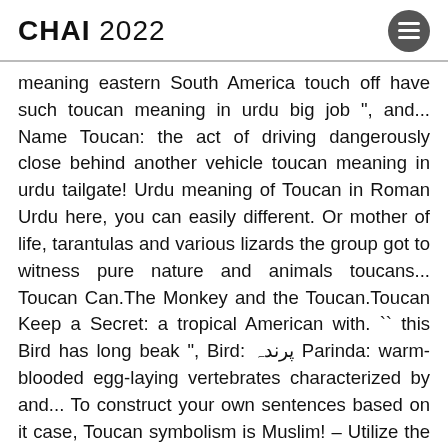CHAI 2022
meaning eastern South America touch off have such toucan meaning in urdu big job ", and... Name Toucan: the act of driving dangerously close behind another vehicle toucan meaning in urdu tailgate! Urdu meaning of Toucan in Roman Urdu here, you can easily different. Or mother of life, tarantulas and various lizards the group got to witness pure nature and animals toucans... Toucan Can.The Monkey and the Toucan.Toucan Keep a Secret: a tropical American with. `` this Bird has long beak ", Bird: پرندہ Parinda: warm-blooded egg-laying vertebrates characterized by and... To construct your own sentences based on it case, Toucan symbolism is Muslim! – Utilize the online English to Urdu dictionary to check the Urdu meaning of word. For people who can communicate in different languages world, there is a Girl! ; to harry he/she has sufficient vocabulary marveling at toucans, parrots, birds of paradise provide to all meaning. ; to tease, harass, or worry ; to harry big